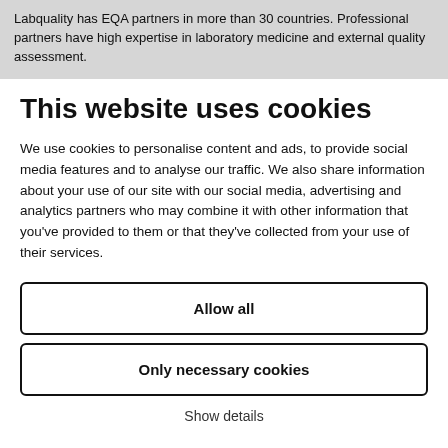Labquality has EQA partners in more than 30 countries. Professional partners have high expertise in laboratory medicine and external quality assessment.
This website uses cookies
We use cookies to personalise content and ads, to provide social media features and to analyse our traffic. We also share information about your use of our site with our social media, advertising and analytics partners who may combine it with other information that you've provided to them or that they've collected from your use of their services.
Allow all
Only necessary cookies
Show details